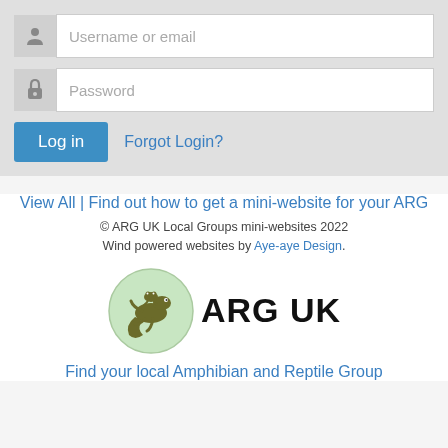[Figure (screenshot): Login form with username/email field, password field, Log in button, and Forgot Login? link on a light grey background]
View All | Find out how to get a mini-website for your ARG
© ARG UK Local Groups mini-websites 2022
Wind powered websites by Aye-aye Design.
[Figure (logo): ARG UK logo: green circle with lizard/salamander illustration and 'ARG UK' text in bold black]
Find your local Amphibian and Reptile Group